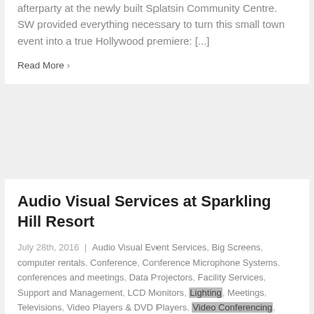afterparty at the newly built Splatsin Community Centre. SW provided everything necessary to turn this small town event into a true Hollywood premiere: [...]
Read More >
Audio Visual Services at Sparkling Hill Resort
July 28th, 2016 | Audio Visual Event Services, Big Screens, computer rentals, Conference, Conference Microphone Systems, conferences and meetings, Data Projectors, Facility Services, Support and Management, LCD Monitors, Lighting, Meetings, Televisions, Video Players & DVD Players, Video Conferencing, Web Casting